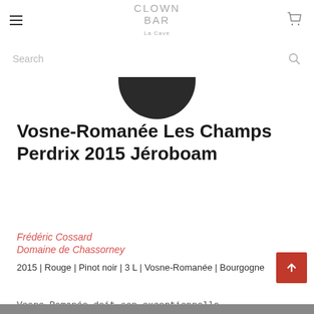CLOWN BAR
[Figure (screenshot): Search bar with placeholder text 'Search' and magnifying glass icon]
[Figure (photo): Bottom of a dark wine bottle capsule visible at top of product section]
Vosne-Romanée Les Champs Perdrix 2015 Jéroboam
Frédéric Cossard
Domaine de Chassorney
2015 | Rouge | Pinot noir | 3 L | Vosne-Romanée | Bourgogne
Vosne-Romanée doit son exceptionnelle réputation à ses Grands Crus mondialement connus et à la qualité si spécifique de ses rouges fins et veloutés.
€550.00